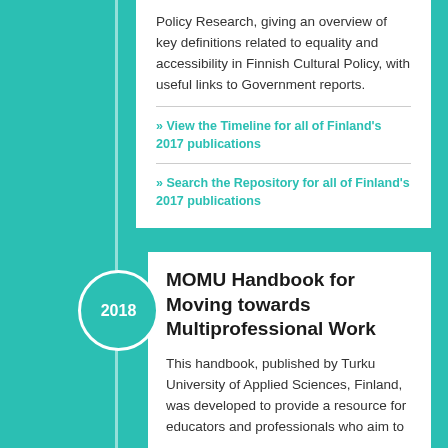Policy Research, giving an overview of key definitions related to equality and accessibility in Finnish Cultural Policy, with useful links to Government reports.
» View the Timeline for all of Finland's 2017 publications
» Search the Repository for all of Finland's 2017 publications
MOMU Handbook for Moving towards Multiprofessional Work
This handbook, published by Turku University of Applied Sciences, Finland, was developed to provide a resource for educators and professionals who aim to